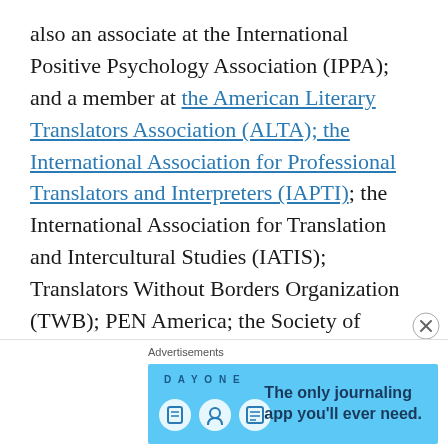also an associate at the International Positive Psychology Association (IPPA); and a member at the American Literary Translators Association (ALTA); the International Association for Professional Translators and Interpreters (IAPTI); the International Association for Translation and Intercultural Studies (IATIS); Translators Without Borders Organization (TWB); PEN America; the Society of Authors in UK; and International Union of
[Figure (other): Advertisement banner for Day One journaling app with blue background, app icons, and tagline 'The only journaling app you'll ever need.']